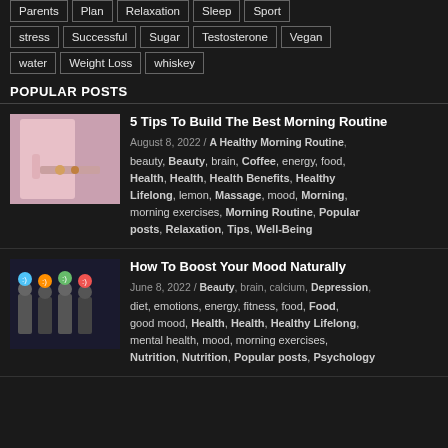Parents, Plan, Relaxation, Sleep, Sport
stress, Successful, Sugar, Testosterone, Vegan
water, Weight Loss, whiskey
POPULAR POSTS
[Figure (photo): Person in pink shirt on bed with breakfast tray]
5 Tips To Build The Best Morning Routine
August 8, 2022 / A Healthy Morning Routine, beauty, Beauty, brain, Coffee, energy, food, Health, Health, Health Benefits, Healthy Lifelong, lemon, Massage, mood, Morning, morning exercises, Morning Routine, Popular posts, Relaxation, Tips, Well-Being
[Figure (photo): Group of people holding colorful emoji face balloons]
How To Boost Your Mood Naturally
June 8, 2022 / Beauty, brain, calcium, Depression, diet, emotions, energy, fitness, food, Food, good mood, Health, Health, Healthy Lifelong, mental health, mood, morning exercises, Nutrition, Nutrition, Popular posts, Psychology